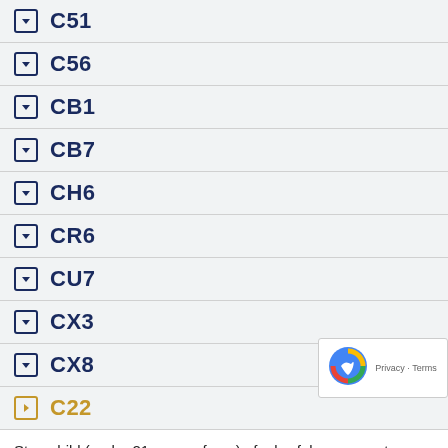C51
C56
CB1
CB7
CH6
CR6
CU7
CX3
CX8
C22
Step-child (under 21 years of age) of a lawful permanent resident alien (subject to country limitations)